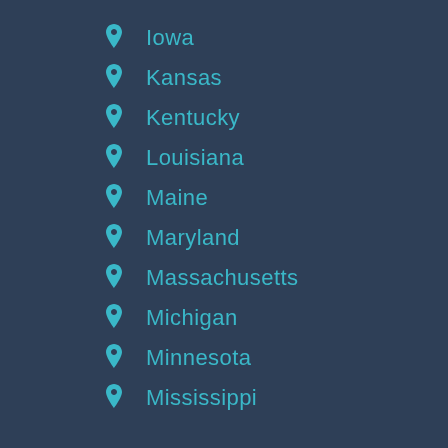Iowa
Kansas
Kentucky
Louisiana
Maine
Maryland
Massachusetts
Michigan
Minnesota
Mississippi